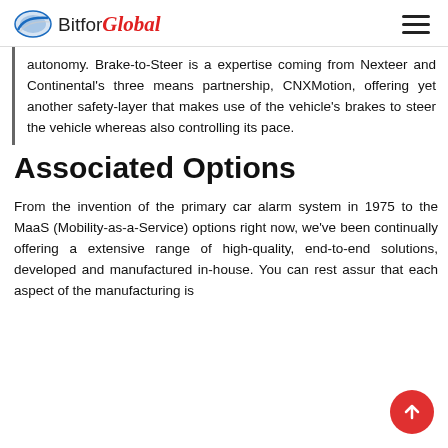Bitfor Global
autonomy. Brake-to-Steer is a expertise coming from Nexteer and Continental's three means partnership, CNXMotion, offering yet another safety-layer that makes use of the vehicle's brakes to steer the vehicle whereas also controlling its pace.
Associated Options
From the invention of the primary car alarm system in 1975 to the MaaS (Mobility-as-a-Service) options right now, we've been continually offering a extensive range of high-quality, end-to-end solutions, developed and manufactured in-house. You can rest assur that each aspect of the manufacturing is